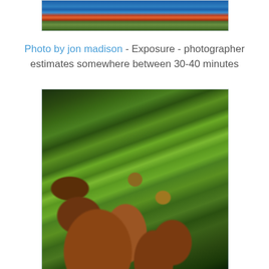[Figure (photo): Top portion of a night sky photo with blue tones and orange/red foliage, cropped at top of page]
Photo by jon madison - Exposure - photographer estimates somewhere between 30-40 minutes
[Figure (photo): Night photograph of a tree with glowing green foliage and brown branches, looking up from below, dramatic HDR-style lighting]